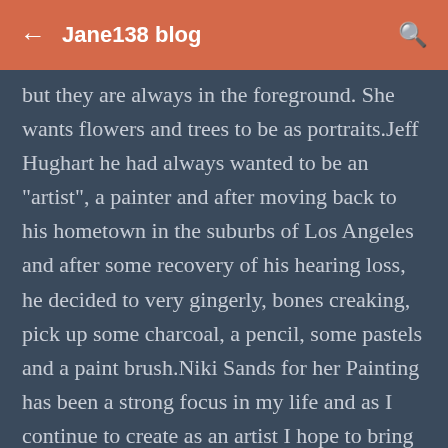← Jane138 blog 🔍
but they are always in the foreground. She wants flowers and trees to be as portraits.Jeff Hughart he had always wanted to be an "artist", a painter and after moving back to his hometown in the suburbs of Los Angeles and after some recovery of his hearing loss, he decided to very gingerly, bones creaking, pick up some charcoal, a pencil, some pastels and a paint brush.Niki Sands for her Painting has been a strong focus in my life and as I continue to create as an artist I hope to bring a smile to someone's face or perhaps a connection of some sort, that to me is true success.B. Ariel Seilonen her works to bring a new consciousness